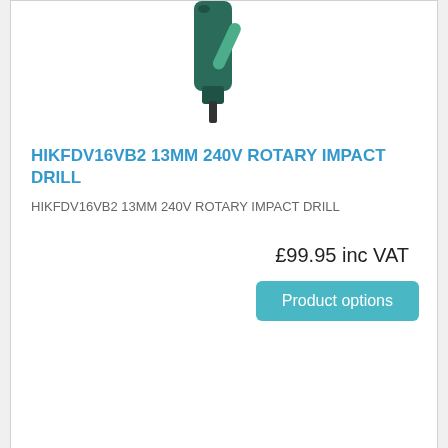[Figure (photo): Top portion of a rotary impact drill product image (dark green/teal coloured drill)]
HIKFDV16VB2 13MM 240V ROTARY IMPACT DRILL
HIKFDV16VB2 13MM 240V ROTARY IMPACT DRILL
£99.95 inc VAT
Product options
[Figure (photo): Yellow and black DeWalt cordless drill with battery pack and charger, with a red 'REAL DEALS' badge sticker]